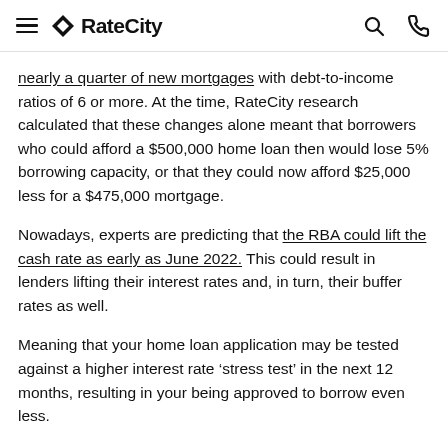RateCity
nearly a quarter of new mortgages with debt-to-income ratios of 6 or more. At the time, RateCity research calculated that these changes alone meant that borrowers who could afford a $500,000 home loan then would lose 5% borrowing capacity, or that they could now afford $25,000 less for a $475,000 mortgage.
Nowadays, experts are predicting that the RBA could lift the cash rate as early as June 2022. This could result in lenders lifting their interest rates and, in turn, their buffer rates as well.
Meaning that your home loan application may be tested against a higher interest rate ‘stress test’ in the next 12 months, resulting in your being approved to borrow even less.